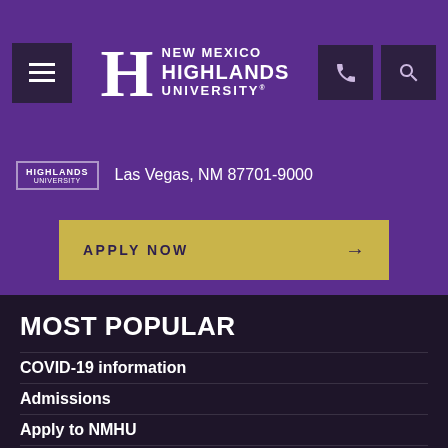[Figure (logo): New Mexico Highlands University logo with large H and text]
Las Vegas, NM 87701-9000
APPLY NOW →
MOST POPULAR
COVID-19 information
Admissions
Apply to NMHU
Bookstore
Campus housing
Financial aid